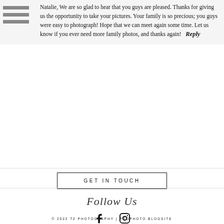Natalie, We are so glad to hear that you guys are pleased. Thanks for giving us the opportunity to take your pictures. Your family is so precious; you guys were easy to photograph! Hope that we can meet again some time. Let us know if you ever need more family photos, and thanks again!   Reply
GET IN TOUCH
Follow Us
[Figure (other): Social media icons: Facebook (f) and Instagram (camera icon)]
© 2022 T2 PHOTOGRAPHY | PROPHOTO BLOGSITE